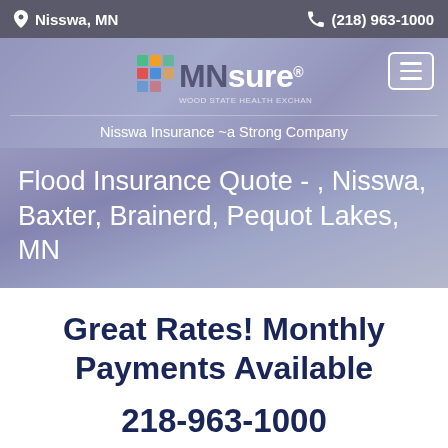Nisswa, MN  (218) 963-1000
[Figure (logo): MNsure logo with colorful grid icon and stylized text]
Nisswa Insurance ~a Strong Company
Flood Insurance Quote - , Nisswa, Baxter, Brainerd, Pequot Lakes, MN
Great Rates! Monthly Payments Available
218-963-1000